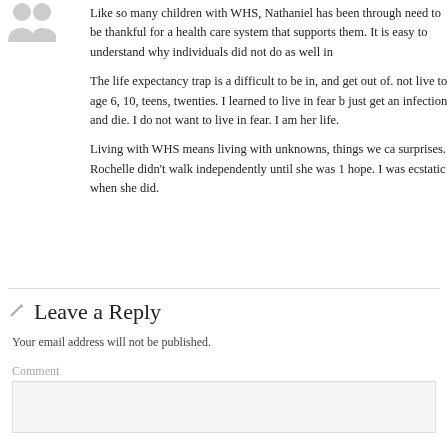[Figure (illustration): Avatar/user icon placeholder — two silhouette figures in gray]
Like so many children with WHS, Nathaniel has been through need to be thankful for a health care system that supports them. It is easy to understand why individuals did not do as well in
The life expectancy trap is a difficult to be in, and get out of. not live to age 6, 10, teens, twenties. I learned to live in fear b just get an infection and die. I do not want to live in fear. I am her life.
Living with WHS means living with unknowns, things we ca surprises. Rochelle didn't walk independently until she was 1 hope. I was ecstatic when she did.
Leave a Reply
Your email address will not be published.
Comment